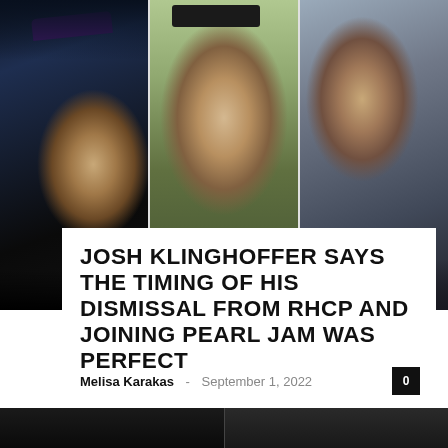[Figure (photo): Three-panel photo strip: left panel shows Anthony Kiedis performing on stage in dark clothing with a hat; center panel shows Josh Klinghoffer standing outdoors in a polo shirt with a button badge; right panel shows Eddie Vedder playing guitar on stage in a light jacket.]
JOSH KLINGHOFFER SAYS THE TIMING OF HIS DISMISSAL FROM RHCP AND JOINING PEARL JAM WAS PERFECT
Melisa Karakas · September 1, 2022
[Figure (photo): Bottom strip showing two partially visible photos side by side.]